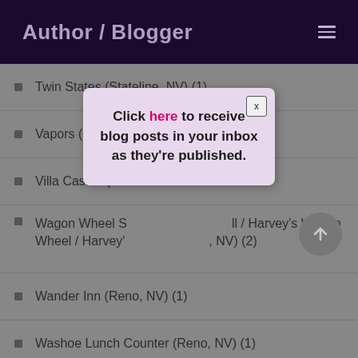Author / Blogger
Twin States (Stateline, NV) (1)
Vapors (Hot Springs, AR) (1)
Villa Casino (Lo… )
Wagon Wheel Saloon / Wagon Wheel / Harvey's Wagon Wheel / Harvey's … (Stateline, NV) (2)
Wander Inn (Reno, NV) (1)
Washoe Lunch Counter (Reno, NV) (1)
Washoe Publishing Co. (Wire Service) (1)
Click here to receive blog posts in your inbox as they're published.